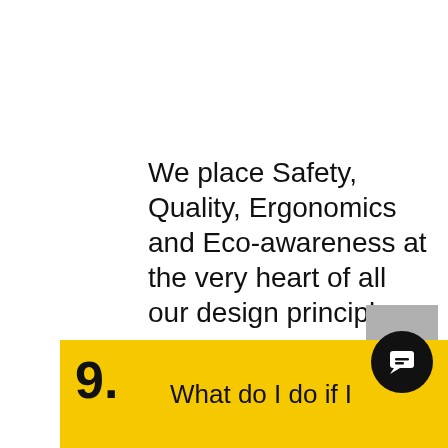We place Safety, Quality, Ergonomics and Eco-awareness at the very heart of all our design principles.
[Figure (other): Gray square scroll-to-top button with upward chevron arrow]
[Figure (other): Yellow FAQ section bar with number 9 and partial question text 'What do I do if I' plus a black circular chat icon]